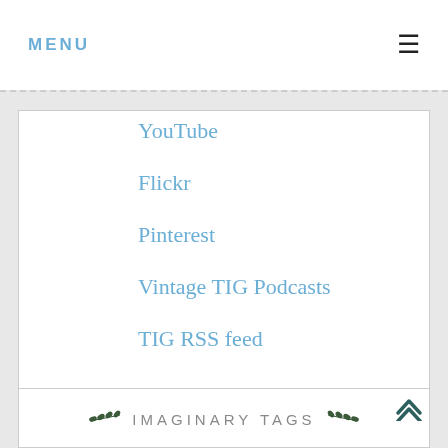MENU
YouTube
Flickr
Pinterest
Vintage TIG Podcasts
TIG RSS feed
IMAGINARY TAGS